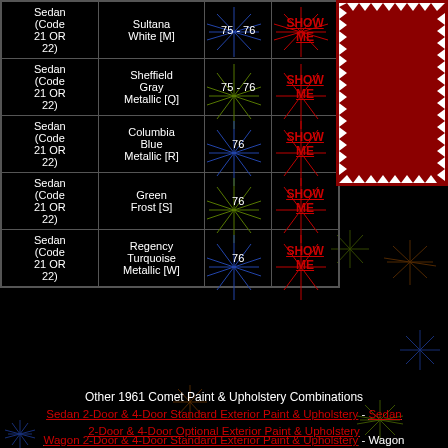| Model | Color | Year | Action |
| --- | --- | --- | --- |
| Sedan (Code 21 OR 22) | Sultana White [M] | 75 - 76 | SHOW ME |
| Sedan (Code 21 OR 22) | Sheffield Gray Metallic [Q] | 75 - 76 | SHOW ME |
| Sedan (Code 21 OR 22) | Columbia Blue Metallic [R] | 76 | SHOW ME |
| Sedan (Code 21 OR 22) | Green Frost [S] | 76 | SHOW ME |
| Sedan (Code 21 OR 22) | Regency Turquoise Metallic [W] | 76 | SHOW ME |
[Figure (photo): Red fabric/upholstery swatch with zigzag border on white background, framed in dark red border]
Other 1961 Comet Paint & Upholstery Combinations
Sedan 2-Door & 4-Door Standard Exterior Paint & Upholstery - Sedan 2-Door & 4-Door Optional Exterior Paint & Upholstery
Wagon 2-Door & 4-Door Standard Exterior Paint & Upholstery - Wagon 2-Door & 4-Door Optional Exterior Paint & Upholstery